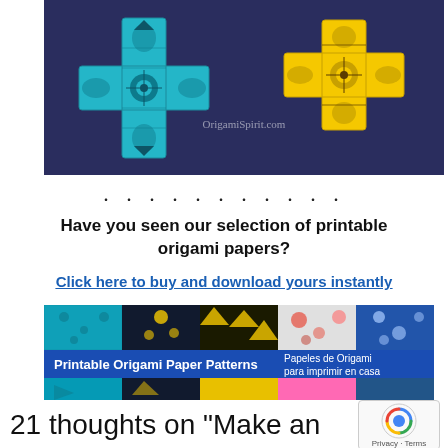[Figure (photo): Two decorative origami crosses on dark navy background — one teal/blue on the left, one yellow on the right, with intricate patterned paper. Watermark: OrigamiSpirit.com]
. . . . . . . . . . .
Have you seen our selection of printable origami papers?
Click here to buy and download yours instantly
[Figure (photo): Banner ad for Printable Origami Paper Patterns / Papeles de Origami para imprimir en casa — showing a grid of colorful patterned paper samples in teal, yellow, red, pink, blue, and green]
21 thoughts on “Make an